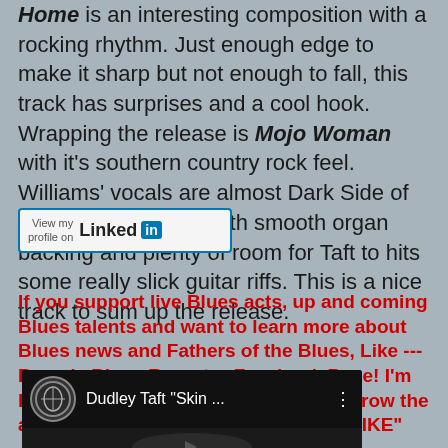Home is an interesting composition with a rocking rhythm. Just enough edge to make it sharp but not enough to fall, this track has surprises and a cool hook. Wrapping the release is Mojo Woman with it's southern country rock feel. Williams' vocals are almost Dark Side of the Moon in quality with smooth organ backing and plenty of room for Taft to hits some really slick guitar riffs. This is a nice track to sum up the release.
[Figure (logo): LinkedIn 'View my profile on LinkedIn' button badge]
If you support live Blues acts, up and coming Blues talents and want to learn more about Blues news and Fathers of the Blues, Like ---Bman's Blues Report--- Facebook Page! I'm looking for great talent and trying to grow the audience for your favorites band! - "LIKE"
[Figure (screenshot): YouTube video thumbnail showing Dudley Taft 'Skin ...' with circular logo and dark background]